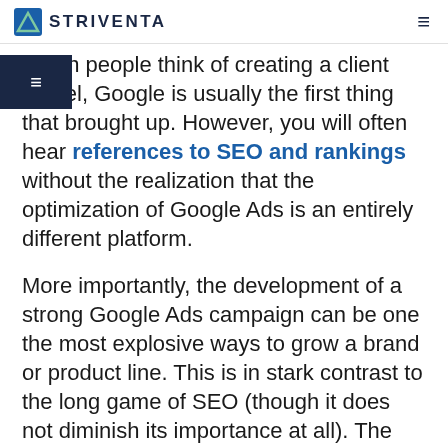STRIVENTA
When people think of creating a client funnel, Google is usually the first thing that brought up. However, you will often hear references to SEO and rankings without the realization that the optimization of Google Ads is an entirely different platform.
More importantly, the development of a strong Google Ads campaign can be one the most explosive ways to grow a brand or product line. This is in stark contrast to the long game of SEO (though it does not diminish its importance at all). The common denominator between the two is that you